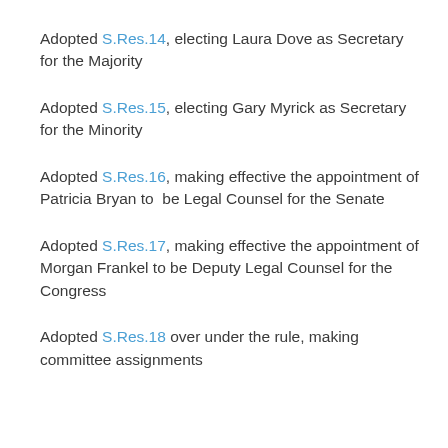Adopted S.Res.14, electing Laura Dove as Secretary for the Majority
Adopted S.Res.15, electing Gary Myrick as Secretary for the Minority
Adopted S.Res.16, making effective the appointment of Patricia Bryan to be Legal Counsel for the Senate
Adopted S.Res.17, making effective the appointment of Morgan Frankel to be Deputy Legal Counsel for the Congress
Adopted S.Res.18 over under the rule, making committee assignments